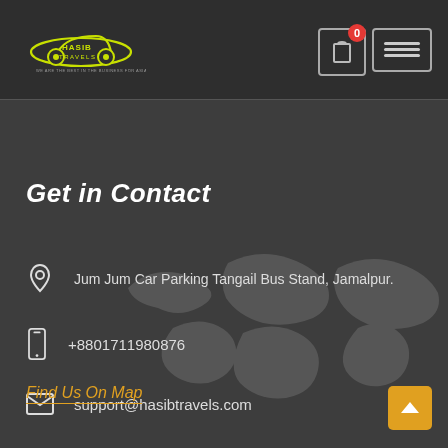[Figure (logo): Hasib Travels logo — car silhouette with wheels, yellow-green color scheme, text HASIB TRAVELS below]
[Figure (other): Shopping cart icon with red badge showing 0, and hamburger menu icon — top right navigation]
Get in Contact
Jum Jum Car Parking Tangail Bus Stand, Jamalpur.
+8801711980876
support@hasibtravels.com
Find Us On Map